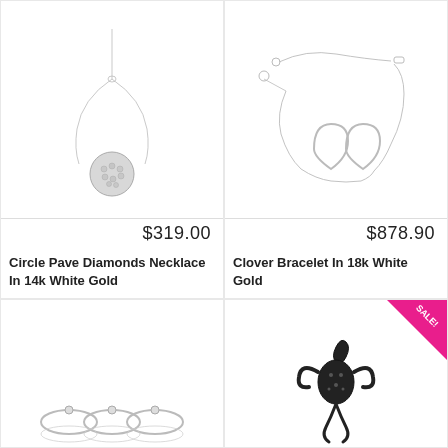[Figure (photo): Circle Pave Diamonds Necklace in 14k White Gold - product photo on white background]
$319.00
Circle Pave Diamonds Necklace In 14k White Gold
[Figure (photo): Clover Bracelet in 18k White Gold - product photo on white background]
$878.90
Clover Bracelet In 18k White Gold
[Figure (photo): Bottom-left jewelry product photo - partial view of silver bracelet/rings]
[Figure (photo): Bottom-right jewelry product photo with SALE! badge - black decorative piece]
SALE!